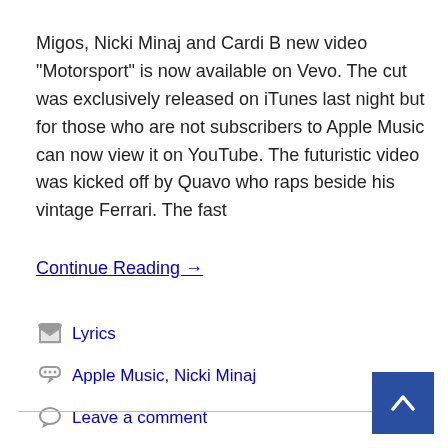Migos, Nicki Minaj and Cardi B new video "Motorsport" is now available on Vevo. The cut was exclusively released on iTunes last night but for those who are not subscribers to Apple Music can now view it on YouTube. The futuristic video was kicked off by Quavo who raps beside his vintage Ferrari. The fast
Continue Reading →
Lyrics
Apple Music, Nicki Minaj
Leave a comment